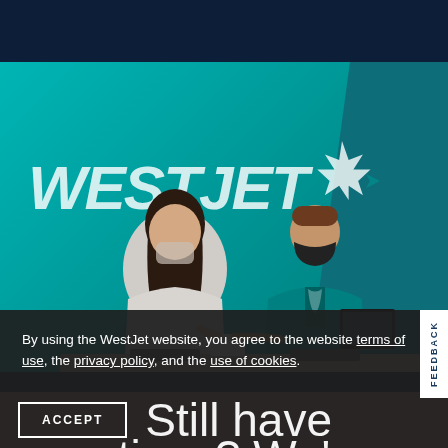[Figure (photo): WestJet airline check-in counter scene. A passenger (back view, dark hair, light top, wearing a light-coloured face mask) is being served by a WestJet agent (facing camera, teal uniform, dark face mask) at a check-in desk. Large WestJet logo with maple leaf visible on teal wall in background. A white FEEDBACK tab is visible on the right edge.]
By using the WestJet website, you agree to the website terms of use, the privacy policy, and the use of cookies.
ACCEPT
Still have questions? We're